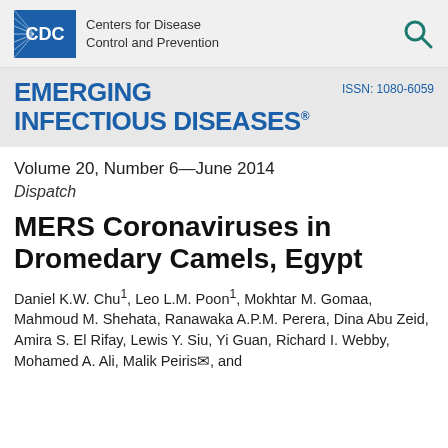[Figure (logo): CDC Centers for Disease Control and Prevention logo with blue box containing 'CDC' text and radiating lines, alongside search icon]
EMERGING INFECTIOUS DISEASES®   ISSN: 1080-6059
Volume 20, Number 6—June 2014
Dispatch
MERS Coronaviruses in Dromedary Camels, Egypt
Daniel K.W. Chu¹, Leo L.M. Poon¹, Mokhtar M. Gomaa, Mahmoud M. Shehata, Ranawaka A.P.M. Perera, Dina Abu Zeid, Amira S. El Rifay, Lewis Y. Siu, Yi Guan, Richard I. Webby, Mohamed A. Ali, Malik Peiris✉, and